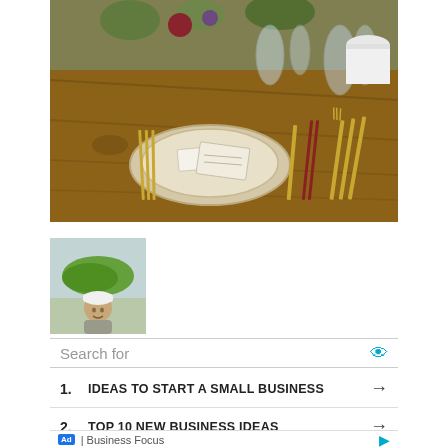[Figure (photo): A rustic wooden table set for a formal dinner with gold cutlery, crystal glasses, plates with folded napkins and menus, and floral centerpieces.]
[Figure (photo): A person wearing a white cap crouching under a large green leaf outdoors.]
Search for
1. IDEAS TO START A SMALL BUSINESS →
2. TOP 10 NEW BUSINESS IDEAS →
Ad | Business Focus